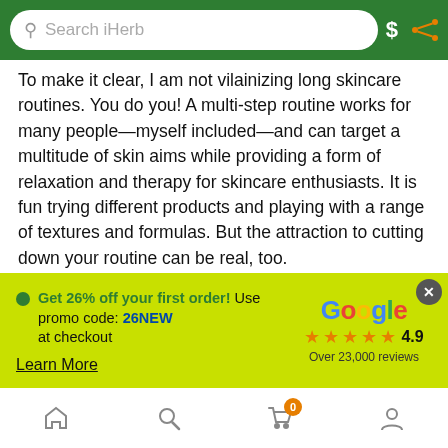Search iHerb
To make it clear, I am not vilainizing long skincare routines. You do you! A multi-step routine works for many people—myself included—and can target a multitude of skin aims while providing a form of relaxation and therapy for skincare enthusiasts. It is fun trying different products and playing with a range of textures and formulas. But the attraction to cutting down your routine can be real, too.
If you have sensitive skin, it can be beneficial to keep your routine more minimal and stick to simple yet effective products you know and trust. Cutting down your routine can save time, is often more environmentally friendly, and importantly, saves money. You can
Get 26% off your first order! Use promo code: 26NEW at checkout
Learn More
Google ★★★★★ 4.9 Over 23,000 reviews